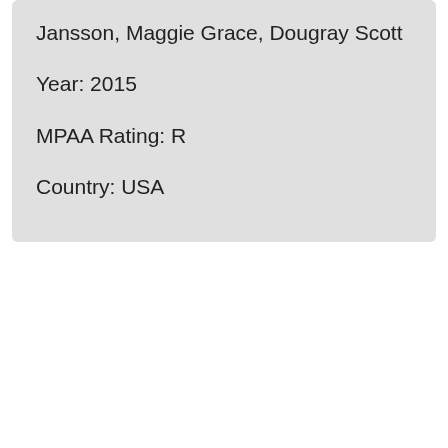Jansson, Maggie Grace, Dougray Scott
Year: 2015
MPAA Rating: R
Country: USA